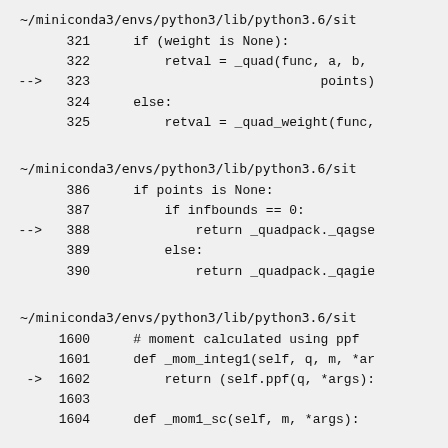~/miniconda3/envs/python3/lib/python3.6/sit
321     if (weight is None):
322         retval = _quad(func, a, b,
--> 323                             points)
324     else:
325         retval = _quad_weight(func,
~/miniconda3/envs/python3/lib/python3.6/sit
386     if points is None:
387         if infbounds == 0:
--> 388             return _quadpack._qagse
389         else:
390             return _quadpack._qagie
~/miniconda3/envs/python3/lib/python3.6/sit
1600     # moment calculated using ppf
1601     def _mom_integ1(self, q, m, *ar
->  1602         return (self.ppf(q, *args):
1603
1604     def _mom1_sc(self, m, *args):